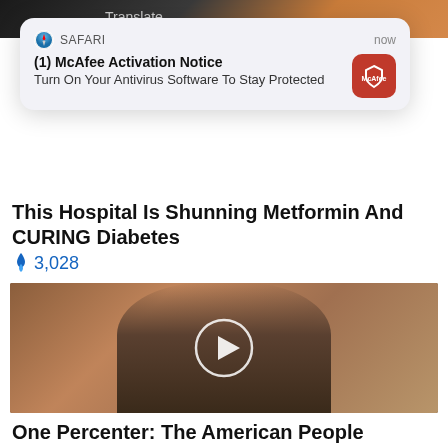[Figure (screenshot): Top image strip showing partial webpage with 'Translate...' text visible at top]
[Figure (screenshot): Safari browser notification popup: '(1) McAfee Activation Notice - Turn On Your Antivirus Software To Stay Protected' with McAfee logo icon, showing 'now' timestamp]
This Hospital Is Shunning Metformin And CURING Diabetes
🔥 3,028
[Figure (photo): Video thumbnail showing an older man in a suit sitting, with a circular play button overlay in the center]
One Percenter: The American People Deserve To Know What's Next